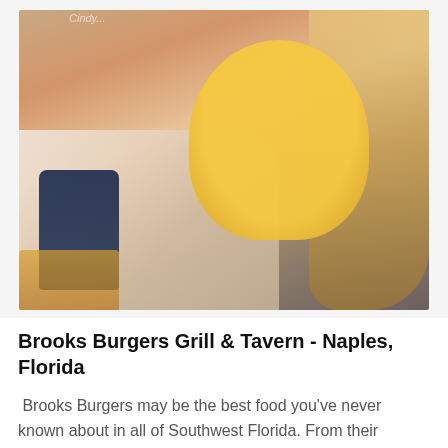[Figure (photo): Woman in floral dress holding a large cheeseburger, with a dark blue bag and fries visible in the background at a restaurant]
Brooks Burgers Grill & Tavern - Naples, Florida
Brooks Burgers may be the best food you've never known about in all of Southwest Florida. From their signature burgers to their classic Fish n' Chips and their out of this world cocktails, the restaurant has been thriving for a while and owner Scott knows a